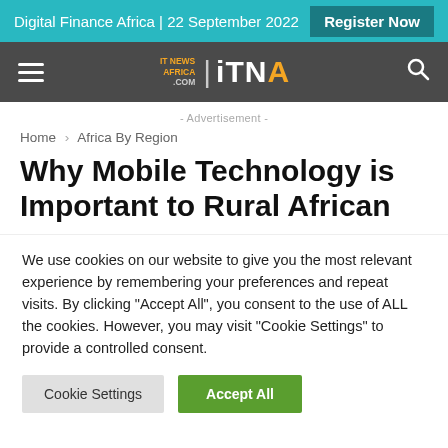Digital Finance Africa | 22 September 2022   Register Now
[Figure (logo): IT News Africa ITNA logo on dark grey navigation bar with hamburger menu and search icon]
- Advertisement -
Home › Africa By Region
Why Mobile Technology is Important to Rural African
We use cookies on our website to give you the most relevant experience by remembering your preferences and repeat visits. By clicking "Accept All", you consent to the use of ALL the cookies. However, you may visit "Cookie Settings" to provide a controlled consent.
Cookie Settings  Accept All